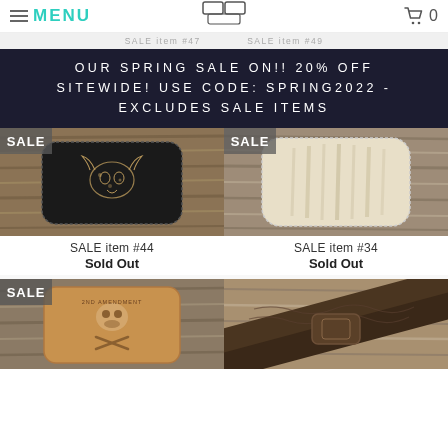MENU | Wallet Buckle | Cart 0
SALE item #47  SALE item #49
OUR SPRING SALE ON!! 20% OFF SITEWIDE! USE CODE: SPRING2022 - EXCLUDES SALE ITEMS
[Figure (photo): Black leather wallet buckle with bull skull design, on wood background. SALE badge in top-left.]
[Figure (photo): Cream/ivory cowhide wallet buckle on wood background. SALE badge in top-left.]
SALE item #44
Sold Out
SALE item #34
Sold Out
[Figure (photo): Tan/brown leather wallet buckle with 2nd Amendment skull and crossbones design. SALE badge in top-left.]
[Figure (photo): Dark brown embossed leather belt/buckle on wood background.]